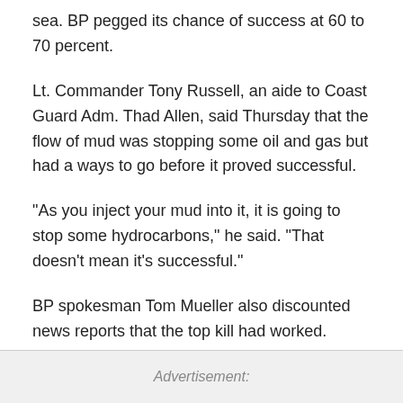sea. BP pegged its chance of success at 60 to 70 percent.
Lt. Commander Tony Russell, an aide to Coast Guard Adm. Thad Allen, said Thursday that the flow of mud was stopping some oil and gas but had a ways to go before it proved successful.
"As you inject your mud into it, it is going to stop some hydrocarbons," he said. "That doesn't mean it's successful."
BP spokesman Tom Mueller also discounted news reports that the top kill had worked.
Advertisement: